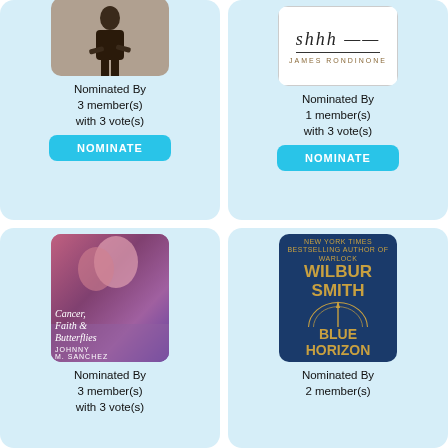[Figure (illustration): Book cover showing silhouette of person, partially cropped at top]
Nominated By
3 member(s)
with 3 vote(s)
NOMINATE
[Figure (illustration): Book cover for 'shhh' by James Rondinone, white cover with script title and author name]
Nominated By
1 member(s)
with 3 vote(s)
NOMINATE
[Figure (illustration): Book cover for 'Cancer, Faith & Butterflies' by Johnny M. Sanchez, purple/pink romantic cover]
Nominated By
3 member(s)
with 3 vote(s)
[Figure (illustration): Book cover for 'Blue Horizon' by Wilbur Smith, dark blue cover with gold text and compass design]
Nominated By
2 member(s)